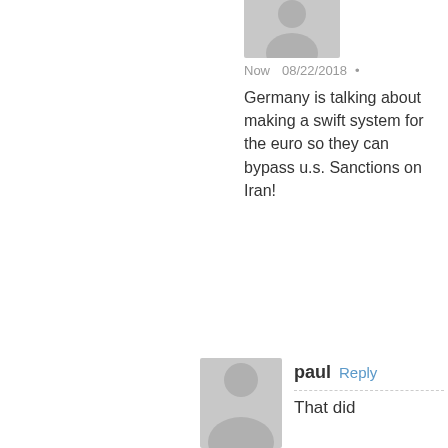[Figure (photo): Grey silhouette avatar, partially visible at top]
Now   08/22/2018 •
Germany is talking about making a swift system for the euro so they can bypass u.s. Sanctions on Iran!
[Figure (photo): Grey silhouette avatar for Jerry]
Jerry   Reply
This is what happened   08/21/2018 • while you were asleep Paul. http://china.aramco.com/en/home
[Figure (photo): Grey silhouette avatar for paul, partially visible at bottom]
paul   Reply
That did